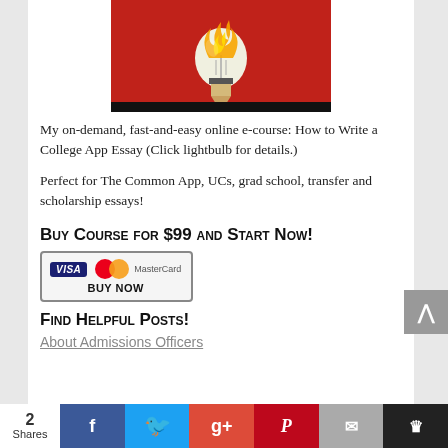[Figure (illustration): Red background with a glowing lightbulb shaped like a pencil with flames on top — logo for online e-course]
My on-demand, fast-and-easy online e-course: How to Write a College App Essay (Click lightbulb for details.)
Perfect for The Common App, UCs, grad school, transfer and scholarship essays!
Buy Course for $99 and Start Now!
[Figure (other): PayPal buy now button with Visa and MasterCard logos]
Find Helpful Posts!
About Admissions Officers
2 Shares | Facebook | Twitter | Google+ | Pinterest | Email | Crown